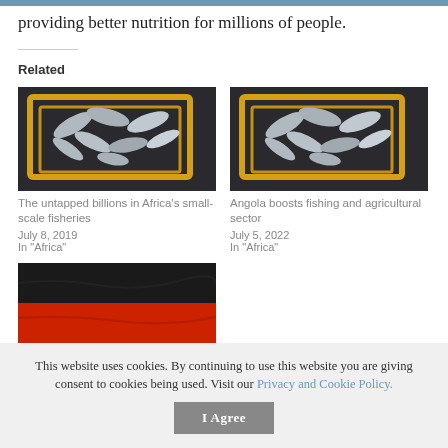providing better nutrition for millions of people.
Related
[Figure (photo): Fish in yellow crates — related article image for 'The untapped billions in Africa's small-scale fisheries']
The untapped billions in Africa's small-scale fisheries
July 8, 2019
In "Africa"
[Figure (photo): Fish in yellow crates — related article image for 'Angola boosts fishing and agricultural sector']
Angola boosts fishing and agricultural sector
July 5, 2022
In "Africa"
[Figure (photo): Red and black flag — related article thumbnail image]
This website uses cookies. By continuing to use this website you are giving consent to cookies being used. Visit our Privacy and Cookie Policy.